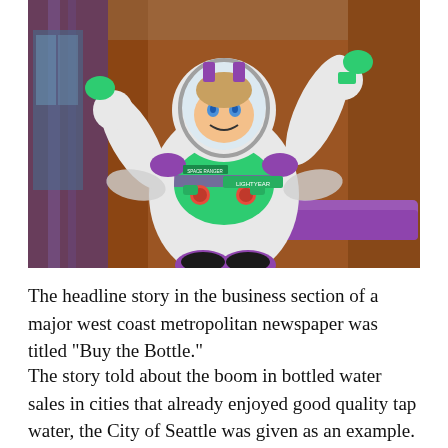[Figure (photo): A large Buzz Lightyear figure/costume character from Toy Story, wearing white and green space ranger suit with purple accents, posed with one arm raised, in front of what appears to be a building with glass doors.]
The headline story in the business section of a major west coast metropolitan newspaper was titled “Buy the Bottle.”
The story told about the boom in bottled water sales in cities that already enjoyed good quality tap water, the City of Seattle was given as an example. Seattle’s water utility had been…